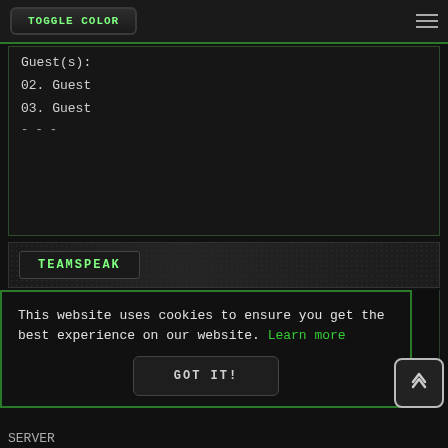[Figure (screenshot): Top navigation bar with TOGGLE COLOR button on left and hamburger menu on right, dark background with green border]
Guest(s):
02. Guest
03. Guest
TEAMSPEAK
[Figure (logo): TeamSpeak logo icon — robot head in green glow]
This website uses cookies to ensure you get the best experience on our website. Learn more
GOT IT!
SERVER